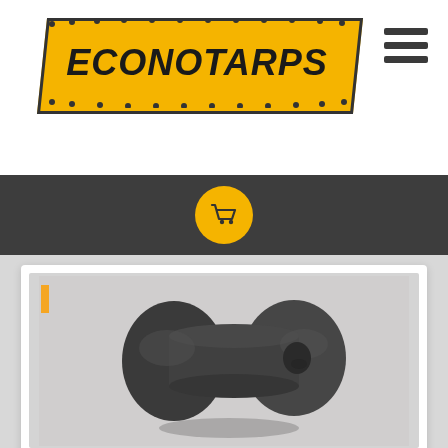[Figure (logo): EconoTarps logo — yellow parallelogram banner with bold italic black text 'ECONOTARPS' and decorative dots along the border]
[Figure (other): Hamburger menu icon — three horizontal dark bars]
[Figure (other): Dark navigation bar with a yellow circle shopping cart icon in the center]
[Figure (photo): Product photo of a dark grey rubber spool/pulley component (double-flanged cylindrical part) on a light grey background, shown on a white product card]